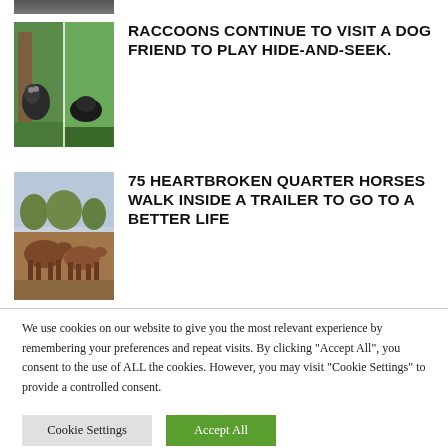[Figure (photo): Partial top image, cropped at top of page]
[Figure (photo): Two raccoons playing near a tree with a dog, outdoors in green grass]
RACCOONS CONTINUE TO VISIT A DOG FRIEND TO PLAY HIDE-AND-SEEK.
[Figure (photo): Brown quarter horses walking together in a field]
75 HEARTBROKEN QUARTER HORSES WALK INSIDE A TRAILER TO GO TO A BETTER LIFE
We use cookies on our website to give you the most relevant experience by remembering your preferences and repeat visits. By clicking "Accept All", you consent to the use of ALL the cookies. However, you may visit "Cookie Settings" to provide a controlled consent.